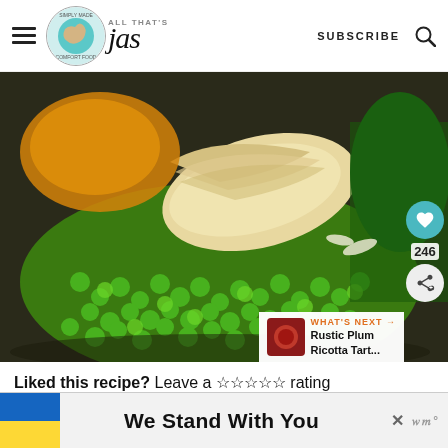ALL THAT'S jas — SUBSCRIBE (navigation header with hamburger menu, logo, subscribe, search)
[Figure (photo): Close-up food photo of green peas and what appears to be a tamale or savory pastry in a pan, with a heart/save button (246 saves) and share button overlaid on the right side, and a 'What's Next: Rustic Plum Ricotta Tart...' thumbnail overlay at the bottom right.]
Liked this recipe? Leave a ☆☆☆☆☆ rating
We Stand With You